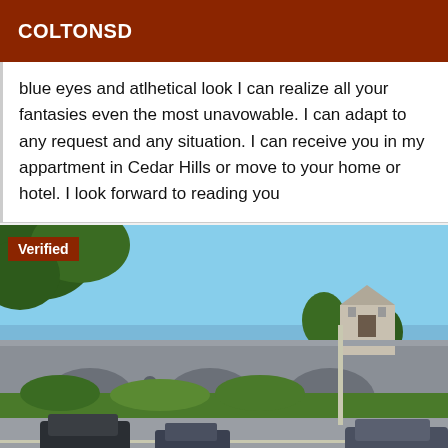COLTONSD
blue eyes and atlhetical look I can realize all your fantasies even the most unavowable. I can adapt to any request and any situation. I can receive you in my appartment in Cedar Hills or move to your home or hotel. I look forward to reading you
[Figure (photo): Outdoor photo showing a historic stone bridge with arched openings and a chapel or gatehouse structure on the right end. Trees are visible on the left, cars on the road in the foreground, clear blue sky. A 'Verified' badge overlays the top-left corner.]